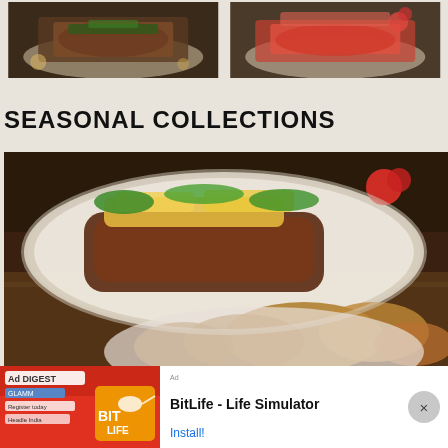[Figure (photo): Two food photos side by side at top: left shows a dark grilled meat dish with herbs on a white plate; right shows a red-sauced dish on a white plate]
SEASONAL COLLECTIONS
[Figure (photo): Large photo of a gourmet plate with grilled meat topped with mango salsa and herbs on a white plate, with roasted potatoes in foreground on wooden table]
[Figure (screenshot): Advertisement banner: BitLife - Life Simulator app ad with red background image and Install button]